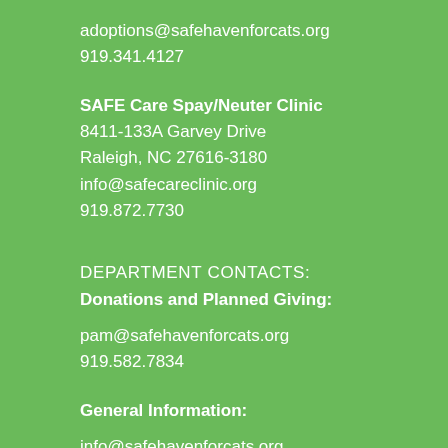adoptions@safehavenforcats.org
919.341.4127
SAFE Care Spay/Neuter Clinic
8411-133A Garvey Drive
Raleigh, NC 27616-3180
info@safecareclinic.org
919.872.7730
DEPARTMENT CONTACTS:
Donations and Planned Giving:
pam@safehavenforcats.org
919.582.7834
General Information:
info@safehavenforcats.org
919.872.7233 (SAFE)